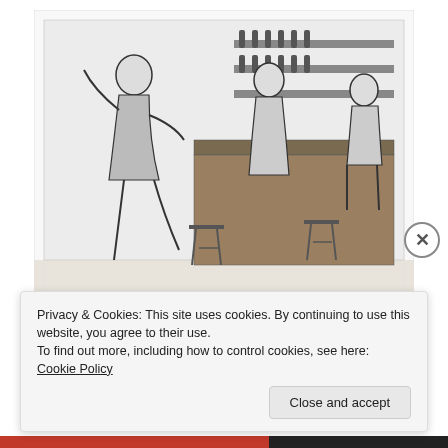[Figure (illustration): Black and white engraving of a wine-shop interior scene with figures around a counter, stools, and shelves with bottles in the background.]
The Wine-shop
Next noontide saw the admirable woman in her usual place in the wine-shop, knitting away assiduously. A rose lay beside her and if she now and then glanced at the
Privacy & Cookies: This site uses cookies. By continuing to use this website, you agree to their use.
To find out more, including how to control cookies, see here: Cookie Policy
Close and accept